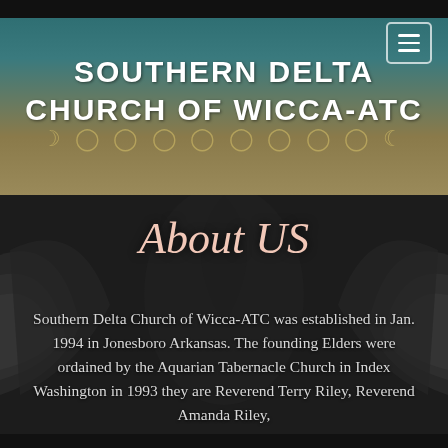SOUTHERN DELTA CHURCH OF WICCA-ATC
[Figure (screenshot): About US decorative title with calligraphic script on dark textured background with wing/feather imagery]
Southern Delta Church of Wicca-ATC was established in Jan. 1994 in Jonesboro Arkansas. The founding Elders were ordained by the Aquarian Tabernacle Church in Index Washington in 1993 they are Reverend Terry Riley, Reverend Amanda Riley,